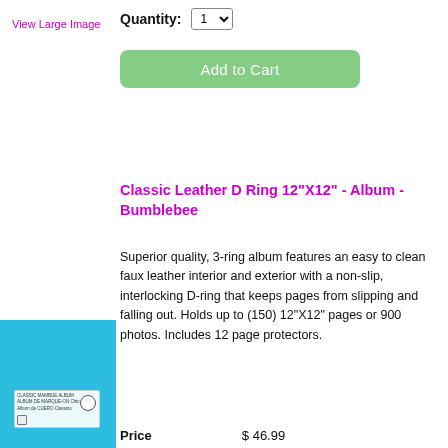View Large Image
Quantity: 1
Add to Cart
Classic Leather D Ring 12"X12" - Album - Bumblebee
Superior quality, 3-ring album features an easy to clean faux leather interior and exterior with a non-slip, interlocking D-ring that keeps pages from slipping and falling out. Holds up to (150) 12"X12" pages or 900 photos. Includes 12 page protectors.
[Figure (photo): Blue/teal colored Classic Leather album product photo with a label on the front]
Price    $ 46.99